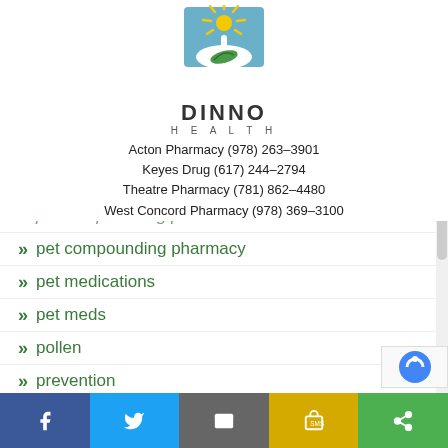[Figure (logo): Dinno Health logo with sun rays, mortar and pestle, and green leaf]
DINNO HEALTH
Acton Pharmacy (978) 263-3901
Keyes Drug (617) 244-2794
Theatre Pharmacy (781) 862-4480
West Concord Pharmacy (978) 369-3100
pet compounding pharmacists
pet compounding pharmacy
pet medications
pet meds
pollen
prevention
stress
toxic chemicals
veterinary compounding